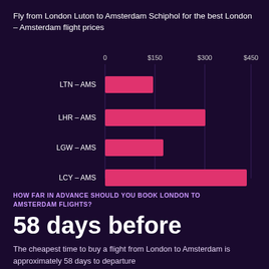Fly from London Luton to Amsterdam Schiphol for the best London – Amsterdam flight prices
[Figure (bar-chart): Flight prices from London to Amsterdam]
HOW FAR IN ADVANCE SHOULD YOU BOOK LONDON TO AMSTERDAM FLIGHTS?
58 days before
The cheapest time to buy a flight from London to Amsterdam is approximately 58 days to departure